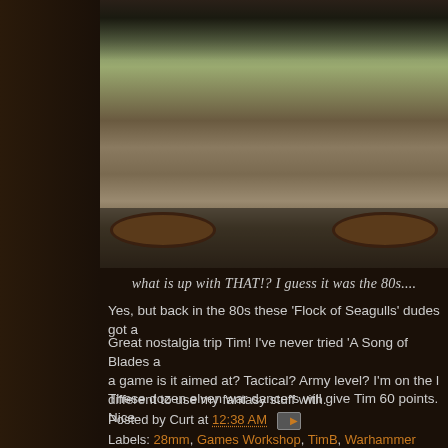[Figure (photo): Close-up photograph of Warhammer Fantasy miniatures (elven war dancers) on round bases, showing detailed painted figures with dark spotted/scaled appearance, bases covered with modelling ground texture and static grass]
what is up with THAT!? I guess it was the 80s....
Yes, but back in the 80s these 'Flock of Seagulls' dudes got a
Great nostalgia trip Tim! I've never tried 'A Song of Blades a a game is it aimed at? Tactical? Army level? I'm on the l different to use my fantasy stuff with.
These dozen elven war dancers will give Tim 60 points. Nice
Posted by Curt at 12:38 AM
Labels: 28mm, Games Workshop, TimB, Warhammer Fantasy
13 comments: